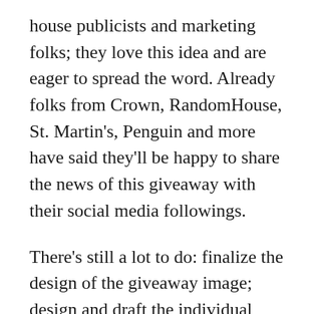house publicists and marketing folks; they love this idea and are eager to spread the word. Already folks from Crown, RandomHouse, St. Martin's, Penguin and more have said they'll be happy to share the news of this giveaway with their social media followings.
There's still a lot to do: finalize the design of the giveaway image; design and draft the individual giveaway pages; continue to reach out and be resources to the writers we've asked to participate; design and send out a guide for the writers participating (which will include the giveaway image, sample tweets, information about their individual giveaway, and more); figure out a workflow for me and for Dan on